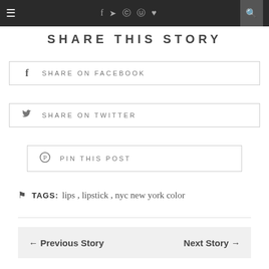≡  f  ✦  ☷  ℗  ♥  🔍
SHARE THIS STORY
f  SHARE ON FACEBOOK
✦  SHARE ON TWITTER
℗  PIN THIS POST
TAGS: lips , lipstick , nyc new york color
← Previous Story   Next Story →